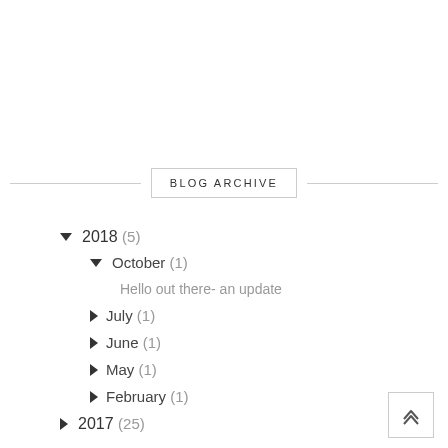BLOG ARCHIVE
▼ 2018 (5)
▼ October (1)
Hello out there- an update
► July (1)
► June (1)
► May (1)
► February (1)
► 2017 (25)